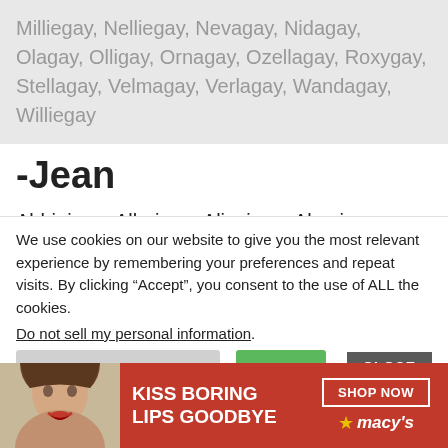Milliegay, Nelliegay, Nevagay, Nidagay, Olagay, Olligay, Ornagay, Ozellagay, Roxygay, Stellagay, Velmagay, Verlagay, Wandagay, Williegay
-Jean
Abbiejean, Albajean, Alicejean, Almajean, Alphajean, Annajean, Beaulahjean, Beckyjean, Belvajean, Berniejean, Berthajean, Bessiejean, Bettyjean, Bobbiejean, Bonniejean, Caroljean, Clydajean,
We use cookies on our website to give you the most relevant experience by remembering your preferences and repeat visits. By clicking “Accept”, you consent to the use of ALL the cookies.
Do not sell my personal information.
[Figure (screenshot): Cookie consent banner with settings button, accept button, and close button]
[Figure (infographic): Macy's advertisement: KISS BORING LIPS GOODBYE with SHOP NOW button and Macy's star logo, red background with woman's face]